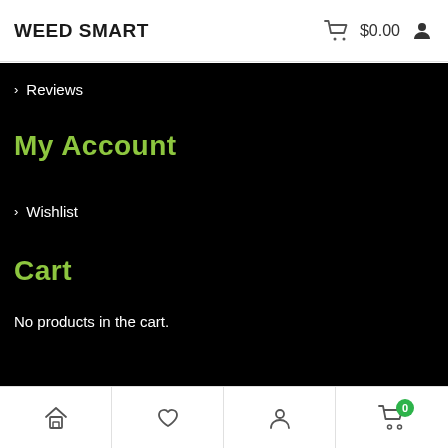WEED SMART   $0.00
> Reviews
My Account
> Wishlist
Cart
No products in the cart.
Home | Wishlist | Account | Cart 0